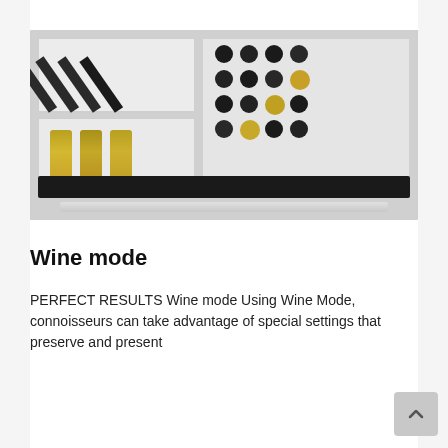[Figure (photo): A wine refrigerator with open drawers showing wine bottles. Left top drawer contains dark wine bottles arranged diagonally. Left bottom drawer contains green/gold wine bottles. Right large drawer contains multiple wine bottles viewed from the top, showing a mix of dark and gold/champagne bottles. A dark control panel with buttons is visible at the bottom front.]
Wine mode
PERFECT RESULTS Wine mode Using Wine Mode, connoisseurs can take advantage of special settings that preserve and present